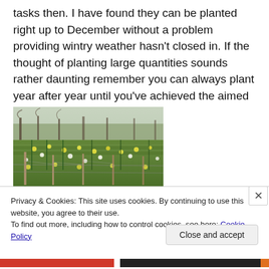tasks then. I have found they can be planted right up to December without a problem providing wintry weather hasn't closed in. If the thought of planting large quantities sounds rather daunting remember you can always plant year after year until you've achieved the aimed for look.
[Figure (photo): Outdoor garden photo showing rows of yellow and white daffodil flowers growing beneath bare-branched trees, with wooden fence posts and wire visible in the foreground.]
Privacy & Cookies: This site uses cookies. By continuing to use this website, you agree to their use.
To find out more, including how to control cookies, see here: Cookie Policy
Close and accept